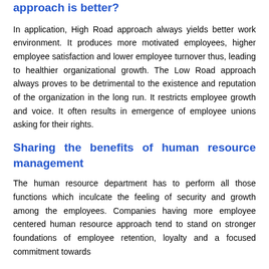approach is better?
In application, High Road approach always yields better work environment. It produces more motivated employees, higher employee satisfaction and lower employee turnover thus, leading to healthier organizational growth. The Low Road approach always proves to be detrimental to the existence and reputation of the organization in the long run. It restricts employee growth and voice. It often results in emergence of employee unions asking for their rights.
Sharing the benefits of human resource management
The human resource department has to perform all those functions which inculcate the feeling of security and growth among the employees. Companies having more employee centered human resource approach tend to stand on stronger foundations of employee retention, loyalty and a focused commitment towards